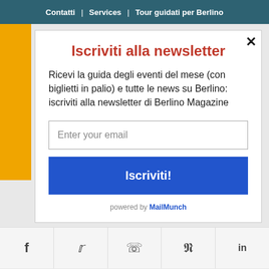Contatti | Services | Tour guidati per Berlino
Iscriviti alla newsletter
Ricevi la guida degli eventi del mese (con biglietti in palio) e tutte le news su Berlino: iscriviti alla newsletter di Berlino Magazine
Enter your email
Iscriviti!
powered by MailMunch